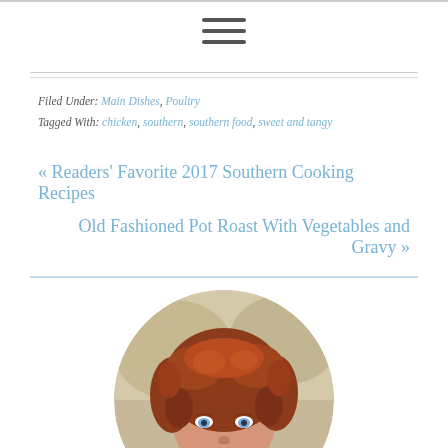≡ (hamburger menu icon)
Filed Under: Main Dishes, Poultry
Tagged With: chicken, southern, southern food, sweet and tangy
« Readers' Favorite 2017 Southern Cooking Recipes
Old Fashioned Pot Roast With Vegetables and Gravy »
[Figure (photo): Circular portrait photo of a woman with curly red/auburn hair and blue eyes, outdoor background]